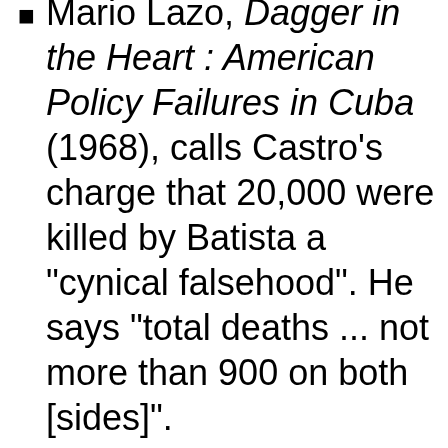Mario Lazo, Dagger in the Heart : American Policy Failures in Cuba (1968), calls Castro's charge that 20,000 were killed by Batista a "cynical falsehood". He says "total deaths ... not more than 900 on both [sides]".